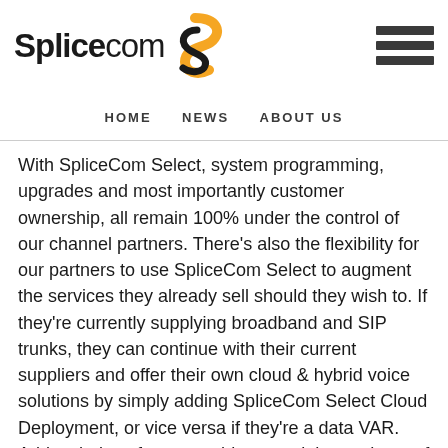[Figure (logo): SpliceCom logo with bold 'Splice' text, regular 'com' text, and an orange/black S-shaped swirl graphic]
[Figure (other): Hamburger menu icon with three horizontal dark bars]
HOME   NEWS   ABOUT US
With SpliceCom Select, system programming, upgrades and most importantly customer ownership, all remain 100% under the control of our channel partners. There's also the flexibility for our partners to use SpliceCom Select to augment the services they already sell should they wish to. If they're currently supplying broadband and SIP trunks, they can continue with their current suppliers and offer their own cloud & hybrid voice solutions by simply adding SpliceCom Select Cloud Deployment, or vice versa if they're a data VAR. Add a choice of pay monthly or outright purchase of licences into the mix and you've got a cloud offer that still allows the channel to